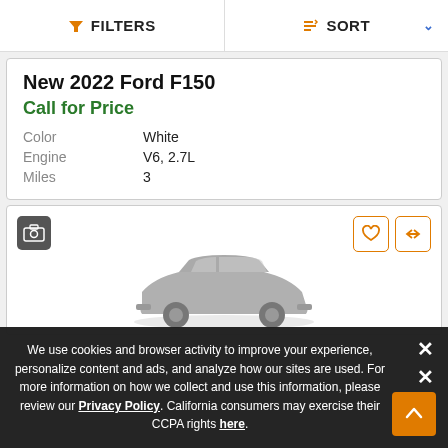FILTERS   SORT
New 2022 Ford F150
Call for Price
Color   White
Engine   V6, 2.7L
Miles   3
[Figure (screenshot): Second vehicle card with image placeholder icon, heart and compare buttons, and a gray car silhouette image partially visible]
We use cookies and browser activity to improve your experience, personalize content and ads, and analyze how our sites are used. For more information on how we collect and use this information, please review our Privacy Policy. California consumers may exercise their CCPA rights here.